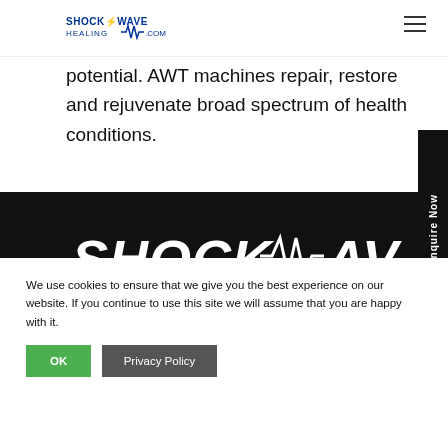ShockwaveHealing.com — navigation header with logo and hamburger menu
outcomes for our patients, to help you reach your maximum performance potential. AWT machines repair, restore and rejuvenate broad spectrum of health conditions.
[Figure (logo): SHOCKWAVE HEALING text logo in dark section background]
We use cookies to ensure that we give you the best experience on our website. If you continue to use this site we will assume that you are happy with it.
OK    Privacy Policy